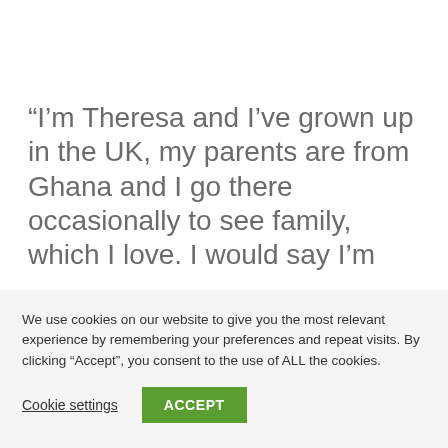“I’m Theresa and I’ve grown up in the UK, my parents are from Ghana and I go there occasionally to see family, which I love. I would say I’m
We use cookies on our website to give you the most relevant experience by remembering your preferences and repeat visits. By clicking “Accept”, you consent to the use of ALL the cookies.
Cookie settings
ACCEPT